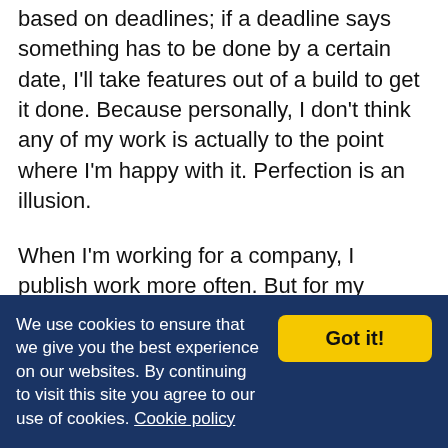based on deadlines; if a deadline says something has to be done by a certain date, I'll take features out of a build to get it done. Because personally, I don't think any of my work is actually to the point where I'm happy with it. Perfection is an illusion.
When I'm working for a company, I publish work more often. But for my personal work, it all depends on the internet, the community. For example, the goggles that I made were really popular. Once I made them, I made another pair to make sure that everything worked, and then I published it, because the internet wanted it. But to
We use cookies to ensure that we give you the best experience on our websites. By continuing to visit this site you agree to our use of cookies. Cookie policy